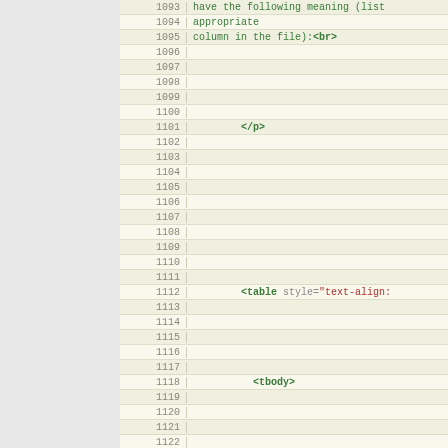[Figure (screenshot): Code editor screenshot showing HTML source code with line numbers 1093-1126. The code includes text content, </p> tag, a <table> tag with style attribute, <tbody> tag, and <tr> tag. Left panel is grey, code area has a light yellow-green background with alternating row shading.]